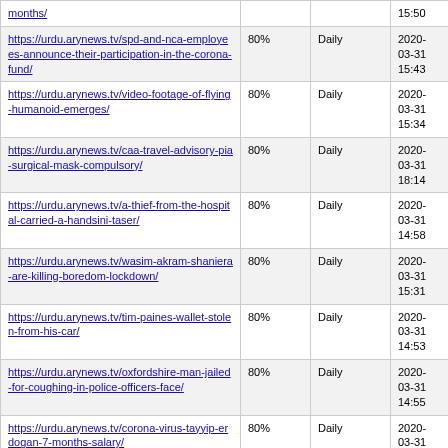| URL | Priority | Change Frequency | Last Modified |
| --- | --- | --- | --- |
| months/ | 80% | Daily | 2020-03-31 15:50 |
| https://urdu.arynews.tv/spd-and-nca-employees-announce-their-participation-in-the-corona-fund/ | 80% | Daily | 2020-03-31 15:43 |
| https://urdu.arynews.tv/video-footage-of-flying-humanoid-emerges/ | 80% | Daily | 2020-03-31 15:34 |
| https://urdu.arynews.tv/caa-travel-advisory-pia-surgical-mask-compulsory/ | 80% | Daily | 2020-03-31 18:14 |
| https://urdu.arynews.tv/a-thief-from-the-hospital-carried-a-handsini-taser/ | 80% | Daily | 2020-03-31 14:58 |
| https://urdu.arynews.tv/wasim-akram-shaniera-are-killing-boredom-lockdown/ | 80% | Daily | 2020-03-31 15:31 |
| https://urdu.arynews.tv/tim-paines-wallet-stolen-from-his-car/ | 80% | Daily | 2020-03-31 14:53 |
| https://urdu.arynews.tv/oxfordshire-man-jailed-for-coughing-in-police-officers-face/ | 80% | Daily | 2020-03-31 14:55 |
| https://urdu.arynews.tv/corona-virus-tayyip-erdogan-7-months-salary/ | 80% | Daily | 2020-03-31 15:57 |
| https://urdu.arynews.tv/urdu-adab-3/ | 80% | Daily | 2020-03-31 14:33 |
| https://urdu.arynews.tv/drive-through-for-coronavirus-tests-in-karachi/ | 80% | Daily | 2020-03-31 14:28 |
| https://urdu.arynews.tv/mission-to-bring-ration-to-the-deserving-important-meeting-of-governor-sindh/ | 80% | Daily | 2020-03-31 14:27 |